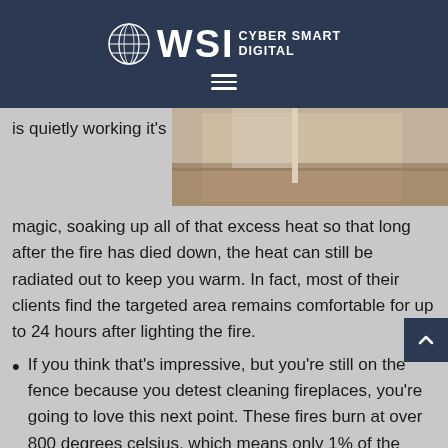WSI CYBER SMART DIGITAL
[Figure (photo): Interior room photo showing wooden floor and a wall/door]
is quietly working it's magic, soaking up all of that excess heat so that long after the fire has died down, the heat can still be radiated out to keep you warm. In fact, most of their clients find the targeted area remains comfortable for up to 24 hours after lighting the fire.
If you think that's impressive, but you're still on the fence because you detest cleaning fireplaces, you're going to love this next point. These fires burn at over 800 degrees celsius, which means only 1% of the original